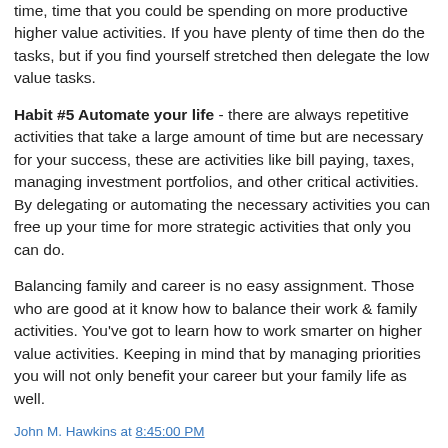time, time that you could be spending on more productive higher value activities. If you have plenty of time then do the tasks, but if you find yourself stretched then delegate the low value tasks.
Habit #5 Automate your life - there are always repetitive activities that take a large amount of time but are necessary for your success, these are activities like bill paying, taxes, managing investment portfolios, and other critical activities. By delegating or automating the necessary activities you can free up your time for more strategic activities that only you can do.
Balancing family and career is no easy assignment. Those who are good at it know how to balance their work & family activities. You've got to learn how to work smarter on higher value activities. Keeping in mind that by managing priorities you will not only benefit your career but your family life as well.
John M. Hawkins at 8:45:00 PM